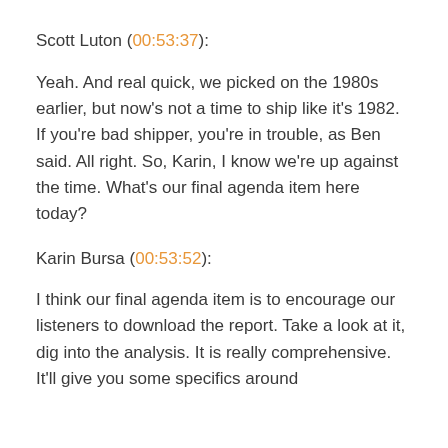Scott Luton (00:53:37):
Yeah. And real quick, we picked on the 1980s earlier, but now's not a time to ship like it's 1982. If you're bad shipper, you're in trouble, as Ben said. All right. So, Karin, I know we're up against the time. What's our final agenda item here today?
Karin Bursa (00:53:52):
I think our final agenda item is to encourage our listeners to download the report. Take a look at it, dig into the analysis. It is really comprehensive. It'll give you some specifics around